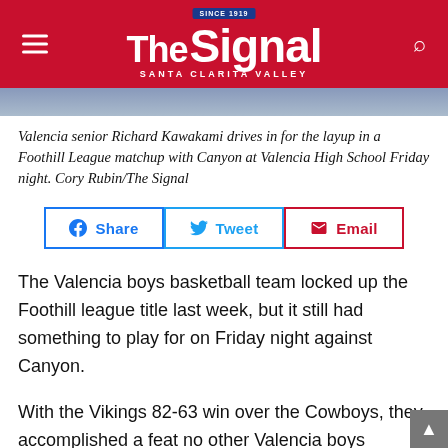The Signal — Santa Clarita Valley
[Figure (photo): Photo strip showing a basketball game scene, partially visible at the top of the page]
Valencia senior Richard Kawakami drives in for the layup in a Foothill League matchup with Canyon at Valencia High School Friday night. Cory Rubin/The Signal
[Figure (infographic): Three social share buttons: Share (Facebook), Tweet (Twitter), Email]
The Valencia boys basketball team locked up the Foothill league title last week, but it still had something to play for on Friday night against Canyon.
With the Vikings 82-63 win over the Cowboys, they accomplished a feat no other Valencia boys